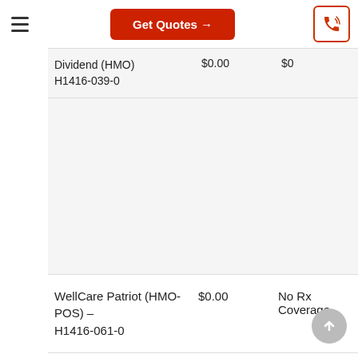Get Quotes →
| Plan | Premium | Rx Coverage |
| --- | --- | --- |
| Dividend (HMO) H1416-039-0 | $0.00 | $0 |
| WellCare Patriot (HMO-POS) – H1416-061-0 | $0.00 | No Rx Coverage |